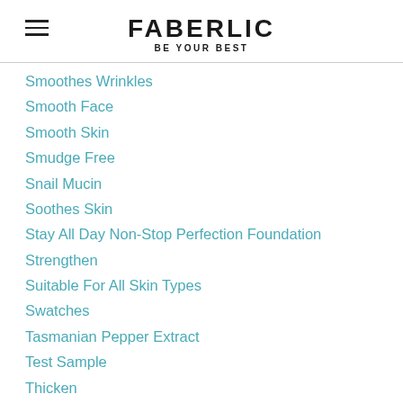FABERLIC BE YOUR BEST
Smoothes Wrinkles
Smooth Face
Smooth Skin
Smudge Free
Snail Mucin
Soothes Skin
Stay All Day Non-Stop Perfection Foundation
Strengthen
Suitable For All Skin Types
Swatches
Tasmanian Pepper Extract
Test Sample
Thicken
Tone "Romantic Rose"
Top Seller
Turmerine
Under Eye Circles